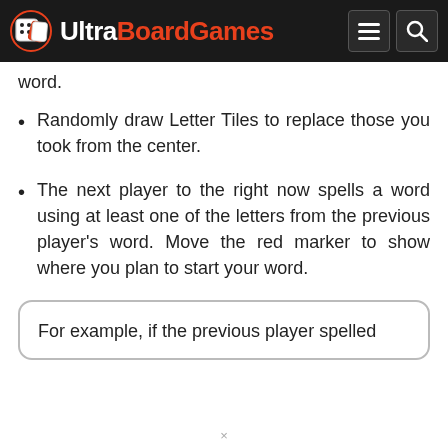UltraBoardGames
word.
Randomly draw Letter Tiles to replace those you took from the center.
The next player to the right now spells a word using at least one of the letters from the previous player's word. Move the red marker to show where you plan to start your word.
For example, if the previous player spelled